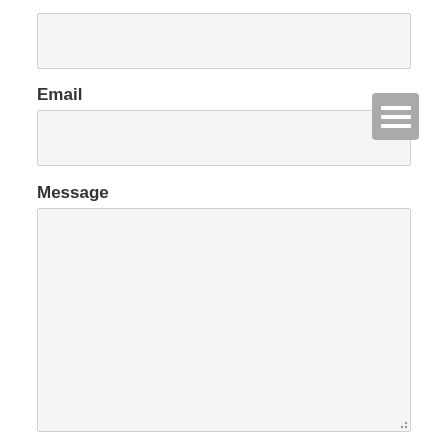[Figure (screenshot): Empty text input field (first, unlabeled)]
Email
[Figure (screenshot): Email input field with hamburger menu icon overlay]
Message
[Figure (screenshot): Large textarea input field for message with resize handle]